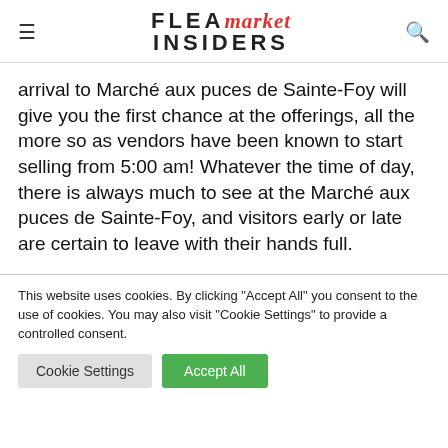FLEA market INSIDERS
arrival to Marché aux puces de Sainte-Foy will give you the first chance at the offerings, all the more so as vendors have been known to start selling from 5:00 am! Whatever the time of day, there is always much to see at the Marché aux puces de Sainte-Foy, and visitors early or late are certain to leave with their hands full.
This website uses cookies. By clicking "Accept All" you consent to the use of cookies. You may also visit "Cookie Settings" to provide a controlled consent.